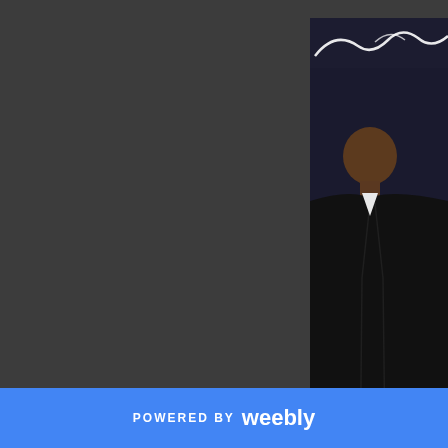[Figure (photo): Photo of Holyfield and Tyson at a press conference or event, shown from behind/side, wearing black suits against a dark backdrop with partial text visible]
Holyfield and Tyson reco
Like 0
Twe
0 Comments
POWERED BY weebly